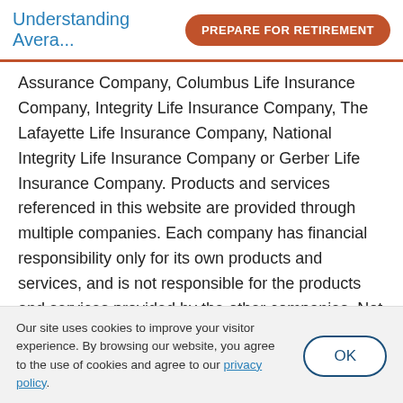Understanding Avera... | PREPARE FOR RETIREMENT
Assurance Company, Columbus Life Insurance Company, Integrity Life Insurance Company, The Lafayette Life Insurance Company, National Integrity Life Insurance Company or Gerber Life Insurance Company. Products and services referenced in this website are provided through multiple companies. Each company has financial responsibility only for its own products and services, and is not responsible for the products and services provided by the other companies. Not all products and services are available in all states.
Our site uses cookies to improve your visitor experience. By browsing our website, you agree to the use of cookies and agree to our privacy policy.